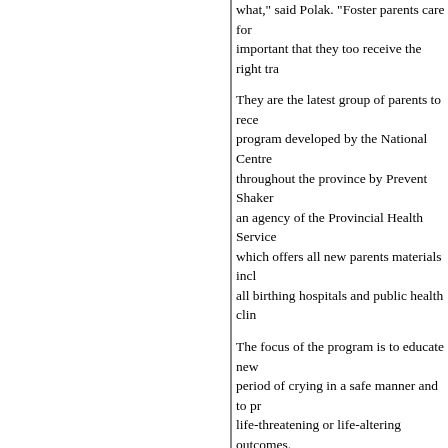what,” said Polak. “Foster parents care for [text continues] important that they too receive the right tra[ining]
They are the latest group of parents to rece[ive a] program developed by the National Centre [and delivered] throughout the province by Prevent Shaker[s BC,] an agency of the Provincial Health Service [Authority,] which offers all new parents materials inclu[ding at] all birthing hospitals and public health clin[ics.]
The focus of the program is to educate new [parents on the] period of crying in a safe manner and to pr[event] life-threatening or life-altering outcomes.
“The Period of PURPLE Crying program i[s using] negative warnings to bring about change in[,” said the] director, Prevent Shaken Baby Syndrome B[C.] “Parents need] to know that it’s okay to walk away from a [baby that is] frustrating.
“It doesn’t make you a bad parent, it just gi[ves alternatives] to shaking.”
The ministry is sending the training materia[ls to] three years of age – approximately 1,000 h[omes.] family support workers are also receiving t[he] training methods.